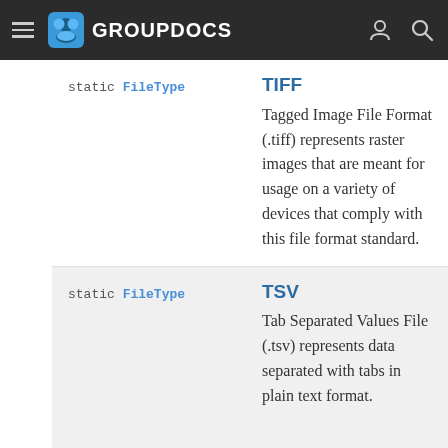GROUPDOCS
| Signature | Description |
| --- | --- |
| static FileType TIFF | TIFF
Tagged Image File Format (.tiff) represents raster images that are meant for usage on a variety of devices that comply with this file format standard. |
| static FileType TSV | TSV
Tab Separated Values File (.tsv) represents data separated with tabs in plain text format. |